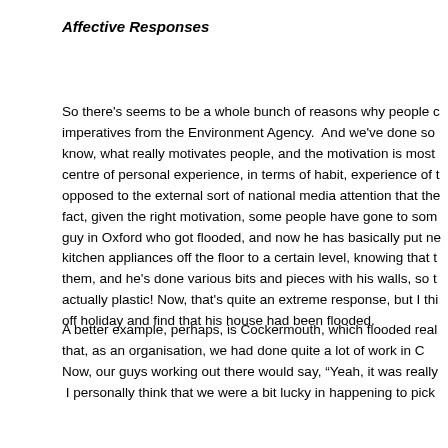Affective Responses
So there's seems to be a whole bunch of reasons why people c... imperatives from the Environment Agency.  And we've done so... know, what really motivates people, and the motivation is most... centre of personal experience, in terms of habit, experience of t... opposed to the external sort of national media attention that the... fact, given the right motivation, some people have gone to som... guy in Oxford who got flooded, and now he has basically put ne... kitchen appliances off the floor to a certain level, knowing that t... them, and he's done various bits and pieces with his walls, so t... actually plastic! Now, that's quite an extreme response, but I thi... off holiday and find that his house had been flooded.
A better example, perhaps, is Cockermouth, which flooded real... that, as an organisation, we had done quite a lot of work in C... Now, our guys working out there would say, "Yeah, it was really... I personally think that we were a bit lucky in happening to pick...